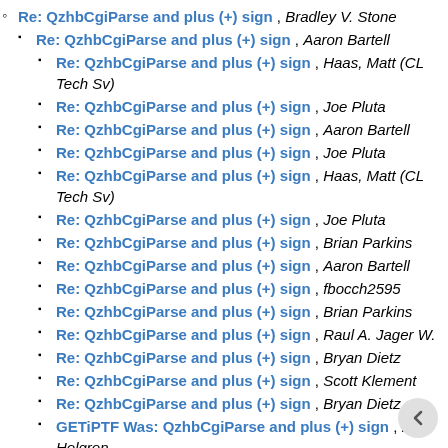Re: QzhbCgiParse and plus (+) sign , Bradley V. Stone
Re: QzhbCgiParse and plus (+) sign , Aaron Bartell
Re: QzhbCgiParse and plus (+) sign , Haas, Matt (CL Tech Sv)
Re: QzhbCgiParse and plus (+) sign , Joe Pluta
Re: QzhbCgiParse and plus (+) sign , Aaron Bartell
Re: QzhbCgiParse and plus (+) sign , Joe Pluta
Re: QzhbCgiParse and plus (+) sign , Haas, Matt (CL Tech Sv)
Re: QzhbCgiParse and plus (+) sign , Joe Pluta
Re: QzhbCgiParse and plus (+) sign , Brian Parkins
Re: QzhbCgiParse and plus (+) sign , Aaron Bartell
Re: QzhbCgiParse and plus (+) sign , fbocch2595
Re: QzhbCgiParse and plus (+) sign , Brian Parkins
Re: QzhbCgiParse and plus (+) sign , Raul A. Jager W.
Re: QzhbCgiParse and plus (+) sign , Bryan Dietz
Re: QzhbCgiParse and plus (+) sign , Scott Klement
Re: QzhbCgiParse and plus (+) sign , Bryan Dietz
GETiPTF Was: QzhbCgiParse and plus (+) sign , Pete Helgren
Re: QzhbCgiParse and plus (+) sign , fbocch2595
Re: QzhbCgiParse and plus (+) sign , Aaron Bartell
Re: QzhbCgiParse and plus (+) sign , Bradley V. Stone